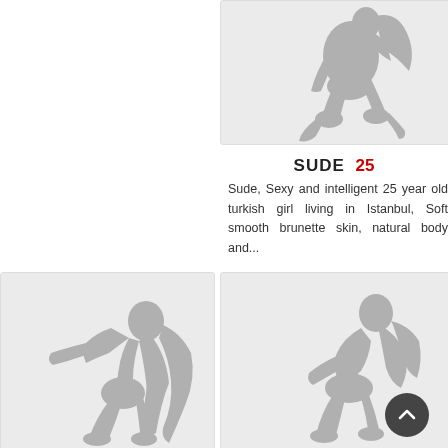[Figure (illustration): Silhouette of a woman kneeling/posing, gray color, top-right card image]
SUDE 25
Sude, Sexy and intelligent 25 year old turkish girl living in Istanbul, Soft smooth brunette skin, natural body and...
[Figure (illustration): Silhouette of a woman posing with long hair, gray color, bottom-left card image]
[Figure (illustration): Silhouette of a woman posing with long hair, gray color, bottom-right card image]